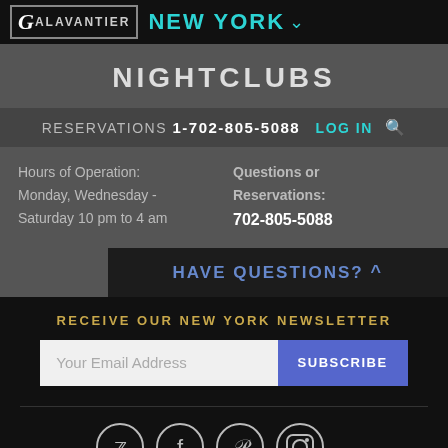GALAVANTIER NEW YORK
NIGHTCLUBS
RESERVATIONS 1-702-805-5088 LOG IN
Hours of Operation: Monday, Wednesday - Saturday 10 pm to 4 am
Questions or Reservations: 702-805-5088
HAVE QUESTIONS?
RECEIVE OUR NEW YORK NEWSLETTER
Your Email Address | SUBSCRIBE
[Figure (illustration): Social media icons: Twitter, Facebook, Pinterest, Instagram]
Careers